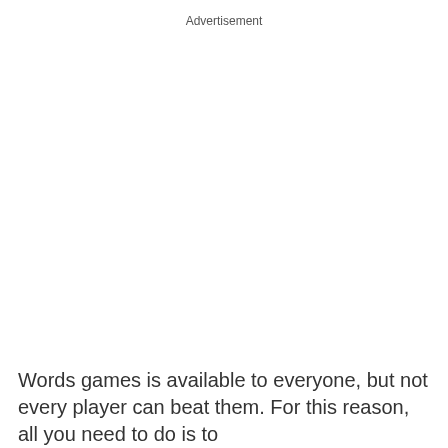Advertisement
Words games is available to everyone, but not every player can beat them. For this reason, all you need to do is to